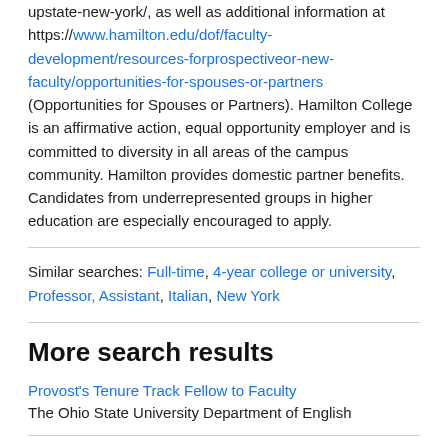upstate-new-york/, as well as additional information at https://www.hamilton.edu/dof/faculty-development/resources-forprospectiveor-new-faculty/opportunities-for-spouses-or-partners (Opportunities for Spouses or Partners). Hamilton College is an affirmative action, equal opportunity employer and is committed to diversity in all areas of the campus community. Hamilton provides domestic partner benefits. Candidates from underrepresented groups in higher education are especially encouraged to apply.
Similar searches: Full-time, 4-year college or university, Professor, Assistant, Italian, New York
More search results
Provost's Tenure Track Fellow to Faculty
The Ohio State University Department of English
Assistant Professor of Japanese Language and Asia